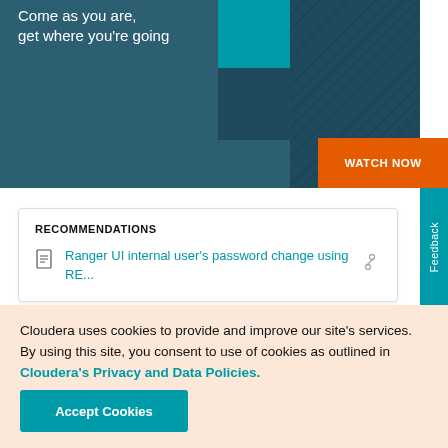[Figure (screenshot): Hero banner with dark teal background, teal and dark colored geometric blocks, 'Come as you are, get where you're going' text, and orange WATCH NOW button]
Come as you are, get where you're going
RECOMMENDATIONS
Ranger UI internal user's password change using RE...
Cloudera uses cookies to provide and improve our site's services. By using this site, you consent to use of cookies as outlined in Cloudera's Privacy and Data Policies.
Accept Cookies